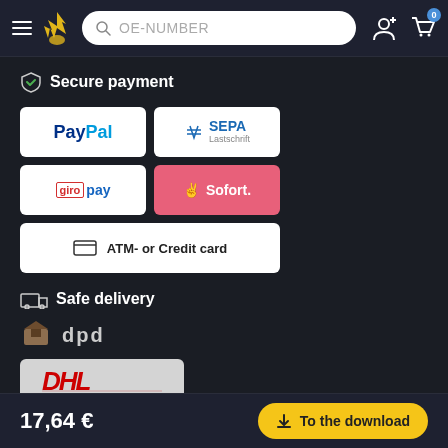OE-NUMBER search bar with navigation icons
Secure payment
[Figure (logo): PayPal payment logo]
[Figure (logo): SEPA Lastschrift payment logo]
[Figure (logo): giropay payment logo]
[Figure (logo): Sofort payment logo]
[Figure (logo): ATM- or Credit card payment option]
Safe delivery
[Figure (logo): DPD delivery logo]
[Figure (logo): DHL delivery logo]
[Figure (logo): GLS delivery logo (partially visible)]
17,64 €
To the download